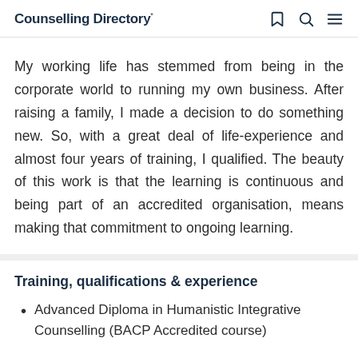Counselling Directory*
My working life has stemmed from being in the corporate world to running my own business. After raising a family, I made a decision to do something new. So, with a great deal of life-experience and almost four years of training, I qualified. The beauty of this work is that the learning is continuous and being part of an accredited organisation, means making that commitment to ongoing learning.
Training, qualifications & experience
Advanced Diploma in Humanistic Integrative Counselling (BACP Accredited course)